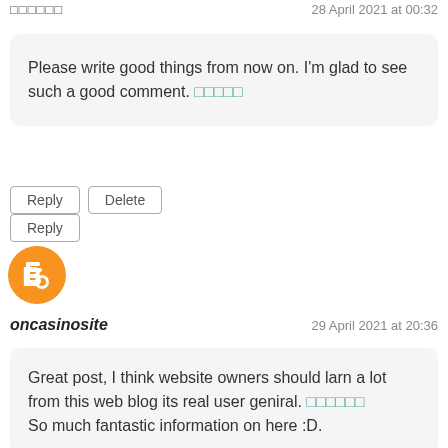□□□□□□  28 April 2021 at 00:32
Please write good things from now on. I'm glad to see such a good comment. □□□□□
Reply  Delete
Reply
[Figure (logo): Orange circular Blogger logo icon]
oncasinosite  29 April 2021 at 20:36
Great post, I think website owners should larn a lot from this web blog its real user geniral. □□□□□□ So much fantastic information on here :D.